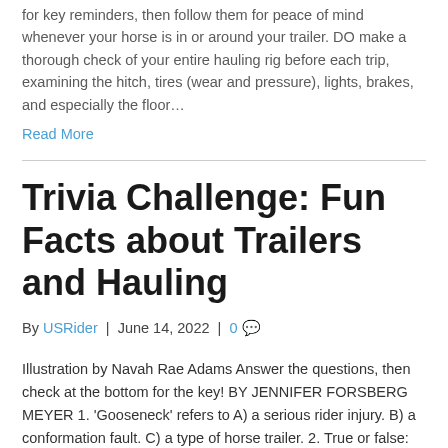for key reminders, then follow them for peace of mind whenever your horse is in or around your trailer. DO make a thorough check of your entire hauling rig before each trip, examining the hitch, tires (wear and pressure), lights, brakes, and especially the floor…
Read More
Trivia Challenge: Fun Facts about Trailers and Hauling
By USRider | June 14, 2022 | 0
Illustration by Navah Rae Adams Answer the questions, then check at the bottom for the key! BY JENNIFER FORSBERG MEYER 1. 'Gooseneck' refers to A) a serious rider injury. B) a conformation fault. C) a type of horse trailer. 2. True or false: When hauling a horse into a trailer, you should tie him before…